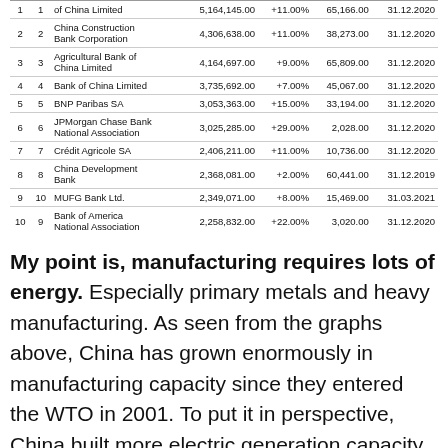|  |  | Bank Name | Total Assets | Change | Net Profit | Date |
| --- | --- | --- | --- | --- | --- | --- |
| 1 | 1 | of China Limited | 5,164,145.00 | +11.00% | 65,166.00 | 31.12.2020 |
| 2 | 2 | China Construction Bank Corporation | 4,306,638.00 | +11.00% | 38,273.00 | 31.12.2020 |
| 3 | 3 | Agricultural Bank of China Limited | 4,164,697.00 | +9.00% | 65,809.00 | 31.12.2020 |
| 4 | 4 | Bank of China Limited | 3,735,692.00 | +7.00% | 45,067.00 | 31.12.2020 |
| 5 | 5 | BNP Paribas SA | 3,053,363.00 | +15.00% | 33,194.00 | 31.12.2020 |
| 6 | 6 | JPMorgan Chase Bank National Association | 3,025,285.00 | +29.00% | 2,028.00 | 31.12.2020 |
| 7 | 7 | Crédit Agricole SA | 2,406,211.00 | +11.00% | 10,736.00 | 31.12.2020 |
| 8 | 8 | China Development Bank | 2,368,081.00 | +2.00% | 60,441.00 | 31.12.2019 |
| 9 | 10 | MUFG Bank Ltd. | 2,349,071.00 | +8.00% | 15,469.00 | 31.03.2021 |
| 10 | 9 | Bank of America National Association | 2,258,832.00 | +22.00% | 3,020.00 | 31.12.2020 |
My point is, manufacturing requires lots of energy. Especially primary metals and heavy manufacturing. As seen from the graphs above, China has grown enormously in manufacturing capacity since they entered the WTO in 2001. To put it in perspective, China built more electric generation capacity in